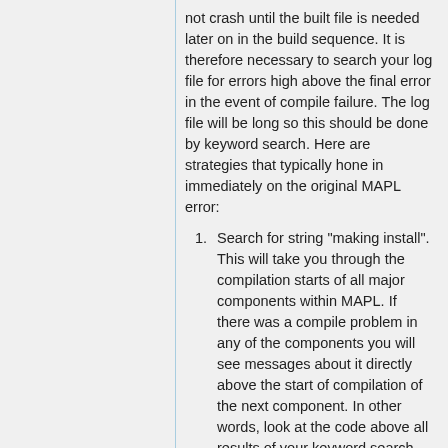not crash until the built file is needed later on in the build sequence. It is therefore necessary to search your log file for errors high above the final error in the event of compile failure. The log file will be long so this should be done by keyword search. Here are strategies that typically hone in immediately on the original MAPL error:
Search for string "making install". This will take you through the compilation starts of all major components within MAPL. If there was a compile problem in any of the components you will see messages about it directly above the start of compilation of the next component. In other words, look at the code above all results of your keyword search.